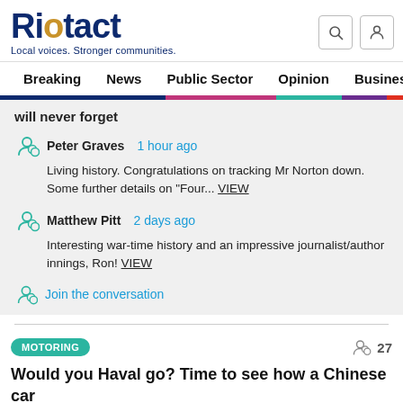Riotact — Local voices. Stronger communities.
Breaking | News | Public Sector | Opinion | Business
will never forget
Peter Graves  1 hour ago
Living history. Congratulations on tracking Mr Norton down. Some further details on "Four... VIEW
Matthew Pitt  2 days ago
Interesting war-time history and an impressive journalist/author innings, Ron! VIEW
Join the conversation
MOTORING
27
Would you Haval go? Time to see how a Chinese car